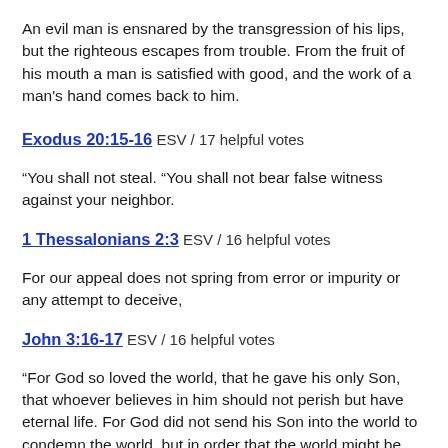An evil man is ensnared by the transgression of his lips, but the righteous escapes from trouble. From the fruit of his mouth a man is satisfied with good, and the work of a man's hand comes back to him.
Exodus 20:15-16 ESV / 17 helpful votes
“You shall not steal. “You shall not bear false witness against your neighbor.
1 Thessalonians 2:3 ESV / 16 helpful votes
For our appeal does not spring from error or impurity or any attempt to deceive,
John 3:16-17 ESV / 16 helpful votes
“For God so loved the world, that he gave his only Son, that whoever believes in him should not perish but have eternal life. For God did not send his Son into the world to condemn the world, but in order that the world might be saved through him.